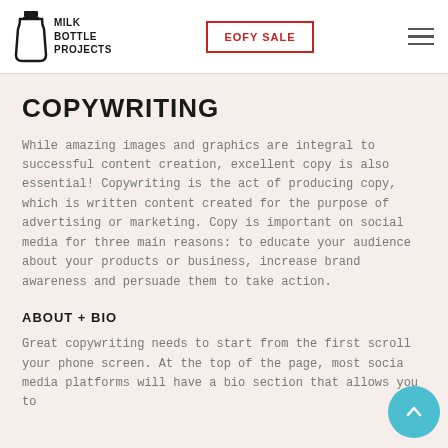[Figure (logo): Milk Bottle Projects logo with milk bottle icon and text]
COPYWRITING
While amazing images and graphics are integral to successful content creation, excellent copy is also essential! Copywriting is the act of producing copy, which is written content created for the purpose of advertising or marketing. Copy is important on social media for three main reasons: to educate your audience about your products or business, increase brand awareness and persuade them to take action.
ABOUT + BIO
Great copywriting needs to start from the first scroll your phone screen. At the top of the page, most social media platforms will have a bio section that allows you to